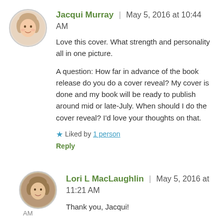[Figure (photo): Circular avatar photo of Jacqui Murray, a woman with light hair]
Jacqui Murray | May 5, 2016 at 10:44 AM
Love this cover. What strength and personality all in one picture.
A question: How far in advance of the book release do you do a cover reveal? My cover is done and my book will be ready to publish around mid or late-July. When should I do the cover reveal? I'd love your thoughts on that.
★ Liked by 1 person
Reply
[Figure (photo): Circular avatar photo of Lori L MacLaughlin, a woman with short hair]
Lori L MacLaughlin | May 5, 2016 at 11:21 AM
Thank you, Jacqui!